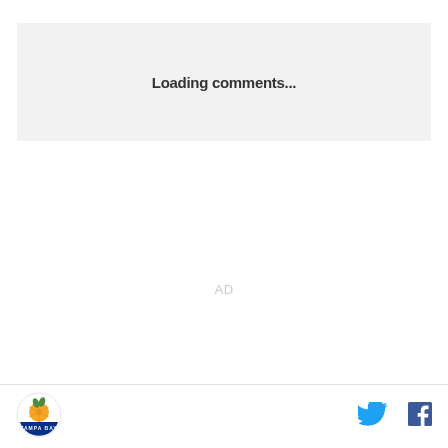Loading comments...
AD
[Figure (logo): Tampa Bay circular logo with orange sun/fruit graphic and text 'TAMPA BAY' around the bottom]
[Figure (other): Twitter bird icon in blue]
[Figure (other): Facebook 'f' icon in dark blue]